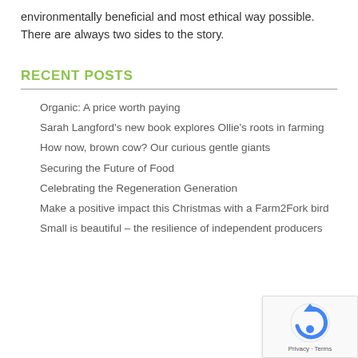environmentally beneficial and most ethical way possible. There are always two sides to the story.
RECENT POSTS
Organic: A price worth paying
Sarah Langford's new book explores Ollie's roots in farming
How now, brown cow? Our curious gentle giants
Securing the Future of Food
Celebrating the Regeneration Generation
Make a positive impact this Christmas with a Farm2Fork bird
Small is beautiful – the resilience of independent producers